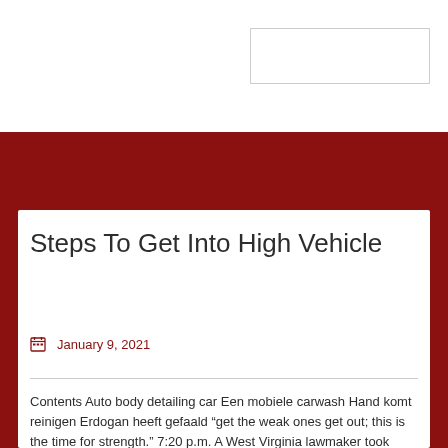Steps To Get Into High Vehicle
January 9, 2021
Contents Auto body detailing car Een mobiele carwash Hand komt reinigen Erdogan heeft gefaald “get the weak ones get out; this is the time for strength.” 7:20 p.m. A West Virginia lawmaker took video of himself and other supporters of President Donald Trump rushing into the